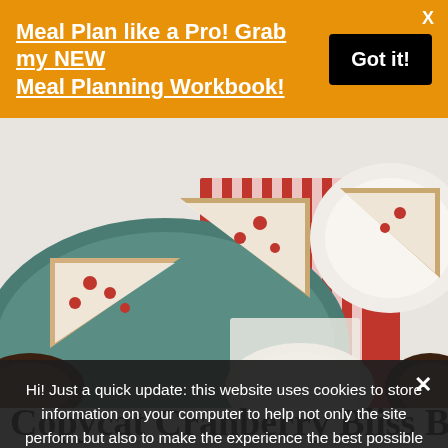Meal Plan like a Pro! Grab my NEW Meal Planning Workbook!
[Figure (photo): Overhead view of cranberry bliss bars with white frosting on teal plates, red striped napkin, and cups of tea on a white surface.]
Copycat Cranberry Bliss Bars
Indesig...
I'm a Starbucks devotee...very close to where I live...It's an expensive habit, but I've pared it down over the years. However, there is one item that I do...the...I always...
Hi! Just a quick update: this website uses cookies to store information on your computer to help not only the site perform but also to make the experience the best possible for you.
Privacy Preferences